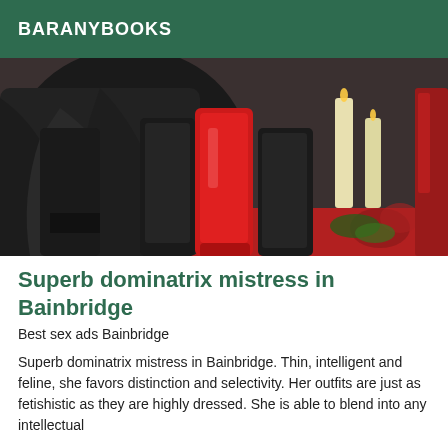BARANYBOOKS
[Figure (photo): Photo of red high-heel platform boots and black leather garments on a red surface, with white candles and Christmas decorations in the background.]
Superb dominatrix mistress in Bainbridge
Best sex ads Bainbridge
Superb dominatrix mistress in Bainbridge. Thin, intelligent and feline, she favors distinction and selectivity. Her outfits are just as fetishistic as they are highly dressed. She is able to blend into any intellectual